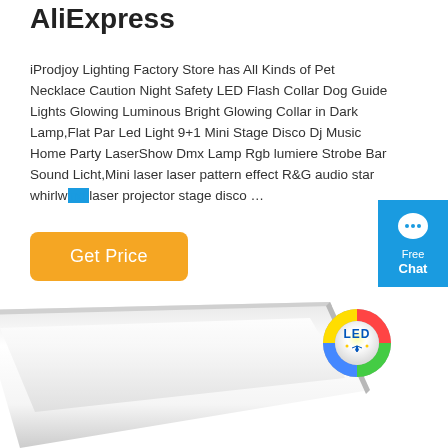AliExpress
iProdjoy Lighting Factory Store has All Kinds of Pet Necklace Caution Night Safety LED Flash Collar Dog Guide Lights Glowing Luminous Bright Glowing Collar in Dark Lamp,Flat Par Led Light 9+1 Mini Stage Disco Dj Music Home Party LaserShow Dmx Lamp Rgb lumiere Strobe Bar Sound Licht,Mini laser laser pattern effect R&G audio star whirlwind laser projector stage disco …
Get Price
[Figure (screenshot): Chat widget with speech bubble icon, 'Free Chat' label in white text on blue background]
[Figure (photo): White LED tube/strip light product photo with LED logo badge in bottom right corner]